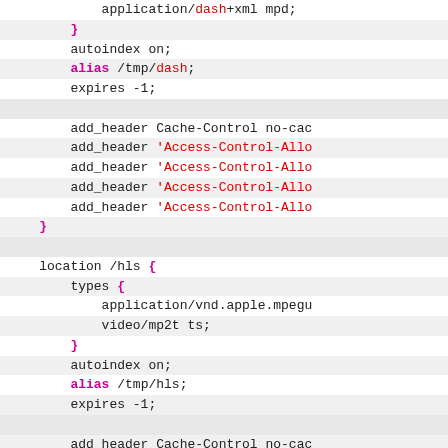Code snippet showing nginx configuration for DASH and HLS streaming with location blocks, types, autoindex, alias, expires, and add_header directives.